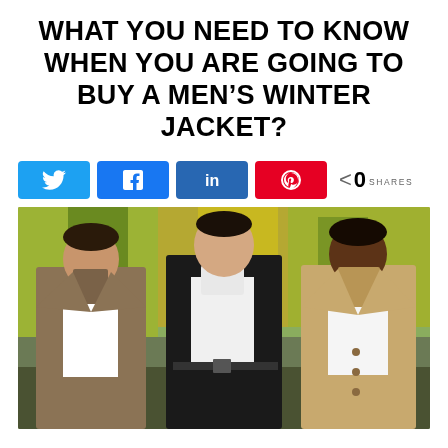WHAT YOU NEED TO KNOW WHEN YOU ARE GOING TO BUY A MEN'S WINTER JACKET?
[Figure (infographic): Social share buttons row: Twitter (blue), Facebook (blue), LinkedIn (blue), Pinterest (red), and a share count showing < 0 SHARES]
[Figure (photo): Three men wearing winter jackets standing outdoors in front of autumn trees: left man in brown coat, center man in black coat with white turtleneck, right man in camel coat]